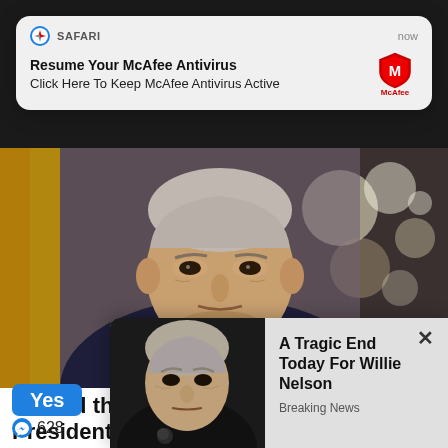[Figure (screenshot): Safari browser push notification popup: 'Resume Your McAfee Antivirus / Click Here To Keep McAfee Antivirus Active' with McAfee shield logo, labeled SAFARI and timestamped 'now']
[Figure (photo): Photo of US President Joe Biden in a dark suit and tie, standing in what appears to be a formal room with golden drapes and bokeh lights in background]
Should the Supreme Court block President Biden's illegal immigration
Yes
628
[Figure (screenshot): Popup ad overlay with photo of elderly man (Willie Nelson) and text: 'A Tragic End Today For Willie Nelson / Breaking News']